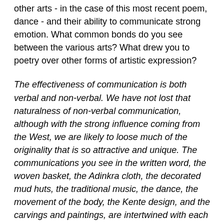other arts - in the case of this most recent poem, dance - and their ability to communicate strong emotion. What common bonds do you see between the various arts? What drew you to poetry over other forms of artistic expression?
The effectiveness of communication is both verbal and non-verbal. We have not lost that naturalness of non-verbal communication, although with the strong influence coming from the West, we are likely to loose much of the originality that is so attractive and unique. The communications you see in the written word, the woven basket, the Adinkra cloth, the decorated mud huts, the traditional music, the dance, the movement of the body, the Kente design, and the carvings and paintings, are intertwined with each other - everything sends a message to someone somewhere. These are the common bonds.
I love art but I am not patient enough nor do I have the skill to create something that will touch